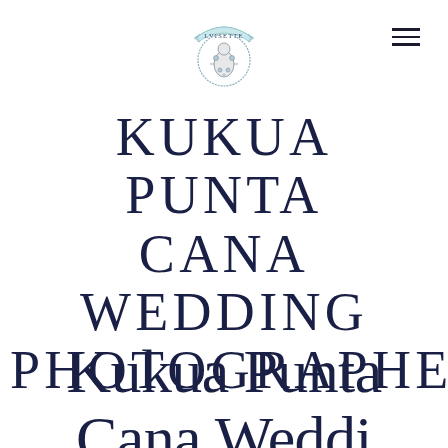[Figure (logo): Lvisette brand logo — circular emblem with decorative banner reading LVISETTE at top, ornate illustrated figure in center, on white background]
KUKUA PUNTA CANA WEDDING PHOTOGRAPHER
Kukua Punta Cana Weddi…